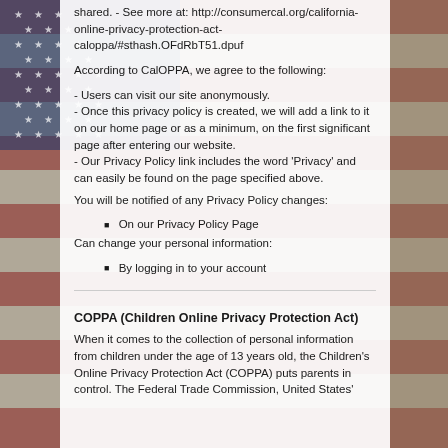shared. - See more at: http://consumercal.org/california-online-privacy-protection-act-caloppa/#sthash.OFdRbT51.dpuf
According to CalOPPA, we agree to the following:
- Users can visit our site anonymously.
- Once this privacy policy is created, we will add a link to it on our home page or as a minimum, on the first significant page after entering our website.
- Our Privacy Policy link includes the word 'Privacy' and can easily be found on the page specified above.
You will be notified of any Privacy Policy changes:
On our Privacy Policy Page
Can change your personal information:
By logging in to your account
COPPA (Children Online Privacy Protection Act)
When it comes to the collection of personal information from children under the age of 13 years old, the Children's Online Privacy Protection Act (COPPA) puts parents in control. The Federal Trade Commission, United States'